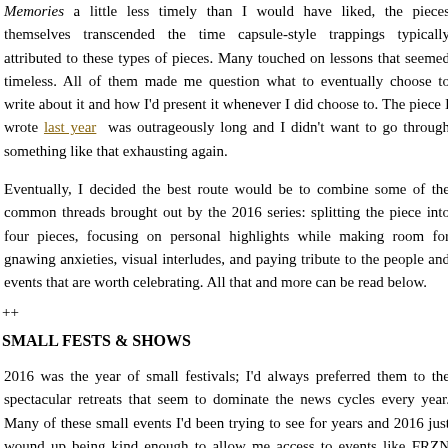Memories a little less timely than I would have liked, the pieces themselves transcended the time capsule-style trappings typically attributed to these types of pieces. Many touched on lessons that seemed timeless. All of them made me question what to eventually choose to write about it and how I'd present it whenever I did choose to. The piece I wrote last year was outrageously long and I didn't want to go through something like that exhausting again.
Eventually, I decided the best route would be to combine some of the common threads brought out by the 2016 series: splitting the piece into four pieces, focusing on personal highlights while making room for gnawing anxieties, visual interludes, and paying tribute to the people and events that are worth celebrating. All that and more can be read below.
++
SMALL FESTS & SHOWS
2016 was the year of small festivals; I'd always preferred them to the spectacular retreats that seem to dominate the news cycles every year. Many of these small events I'd been trying to see for years and 2016 just wound up being kind enough to allow me access to events like FRZN Fest, Wicker Park Fest, and Eaux Claire among others. Unsurprisingly, each held its own share of memorable, frustrating,